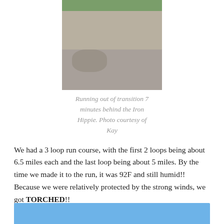[Figure (photo): Runner on a paved path coming out of transition area, with other people and race equipment visible in the background]
Running out of transition 7 minutes behind the Iron Hippie. Photo courtesy of Kay
We had a 3 loop run course, with the first 2 loops being about 6.5 miles each and the last loop being about 5 miles. By the time we made it to the run, it was 92F and still humid!! Because we were relatively protected by the strong winds, we got TORCHED!!
[Figure (photo): Partial view of another photo at the bottom of the page, showing blue tones]